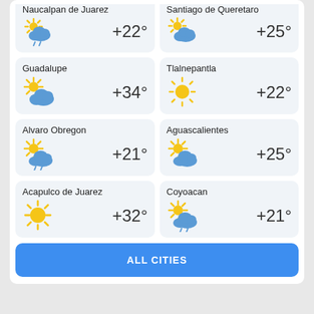[Figure (screenshot): Weather app screenshot showing city weather cards with temperatures for multiple Mexican cities, and an ALL CITIES button at the bottom.]
Naucalpan de Juarez +22°
Santiago de Queretaro +25°
Guadalupe +34°
Tlalnepantla +22°
Alvaro Obregon +21°
Aguascalientes +25°
Acapulco de Juarez +32°
Coyoacan +21°
ALL CITIES